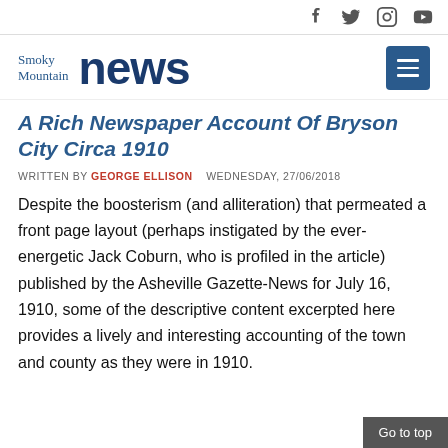Smoky Mountain news [social icons: Facebook, Twitter, Instagram, YouTube]
A Rich Newspaper Account Of Bryson City Circa 1910
WRITTEN BY GEORGE ELLISON   WEDNESDAY, 27/06/2018
Despite the boosterism (and alliteration) that permeated a front page layout (perhaps instigated by the ever-energetic Jack Coburn, who is profiled in the article) published by the Asheville Gazette-News for July 16, 1910, some of the descriptive content excerpted here provides a lively and interesting accounting of the town and county as they were in 1910.